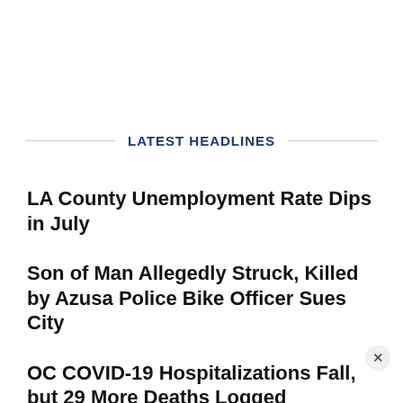LATEST HEADLINES
LA County Unemployment Rate Dips in July
Son of Man Allegedly Struck, Killed by Azusa Police Bike Officer Sues City
OC COVID-19 Hospitalizations Fall, but 29 More Deaths Logged
COVID Hospitalizations Drop Again in